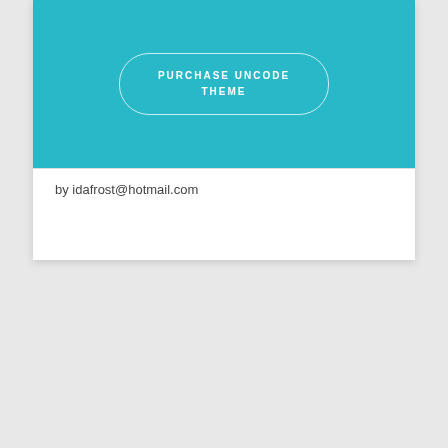[Figure (other): Teal/cyan banner with a rounded outlined button reading PURCHASE UNCODE THEME]
by idafrost@hotmail.com